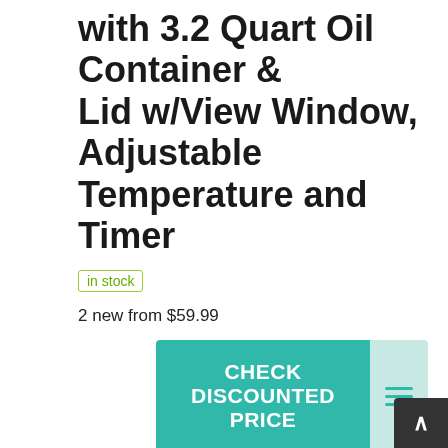with 3.2 Quart Oil Container & Lid w/View Window, Adjustable Temperature and Timer
in stock
2 new from $59.99
CHECK DISCOUNTED PRICE
Amazon.com
as of August 29, 2022 7:45 pm
Features
🔲Proper Capacity & High Performance   3.2 quart oil container, ARLIME deep fryer with 2.5 pound food